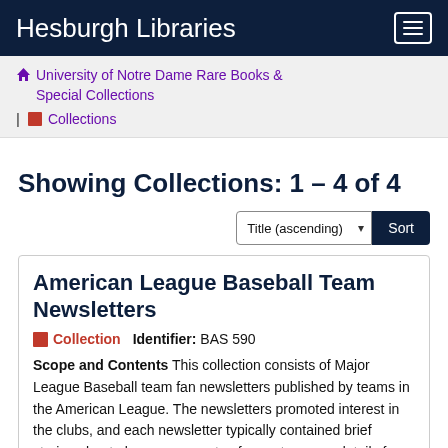Hesburgh Libraries
University of Notre Dame Rare Books & Special Collections | Collections
Showing Collections: 1 - 4 of 4
American League Baseball Team Newsletters
Collection  Identifier: BAS 590
Scope and Contents This collection consists of Major League Baseball team fan newsletters published by teams in the American League. The newsletters promoted interest in the clubs, and each newsletter typically contained brief stories about players, accounts of recent games, details for upcoming games, news about hallmark